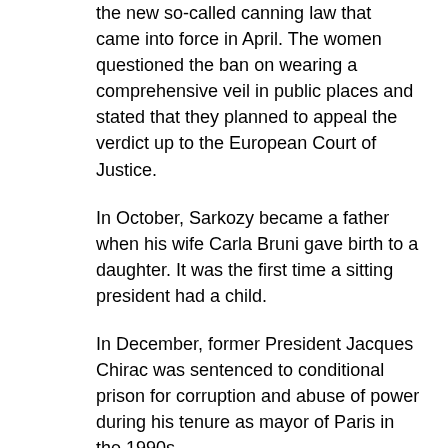the new so-called canning law that came into force in April. The women questioned the ban on wearing a comprehensive veil in public places and stated that they planned to appeal the verdict up to the European Court of Justice.
In October, Sarkozy became a father when his wife Carla Bruni gave birth to a daughter. It was the first time a sitting president had a child.
In December, former President Jacques Chirac was sentenced to conditional prison for corruption and abuse of power during his tenure as mayor of Paris in the 1990s.
Paris
Paris, the capital of France, located in the northern part of the country on the Seine River in the Île-de-France region; 11.96 million in the region (2013). In a narrower sense, Paris denotes the municipality (2.2 million inlbs) within the fortifications of the 1840's, now followed by the Boulevard Périphérique motorway. The municipality also has the